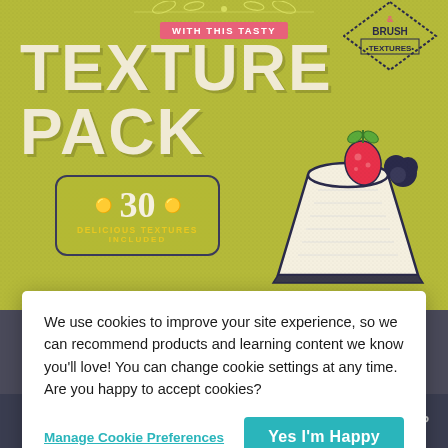[Figure (illustration): Olive/yellow-green promotional banner for a 'Texture Pack' product showing large text 'WITH THIS TASTY TEXTURE PACK', a decorative badge reading '30 DELICIOUS TEXTURES INCLUDED', an illustrated cheesecake slice with strawberry topping, and a '& BRUSH TEXTURES' diamond badge in the top right corner.]
We use cookies to improve your site experience, so we can recommend products and learning content we know you'll love! You can change cookie settings at any time. Are you happy to accept cookies?
Manage Cookie Preferences
Yes I'm Happy
Download prices: $X.XX (00.00)